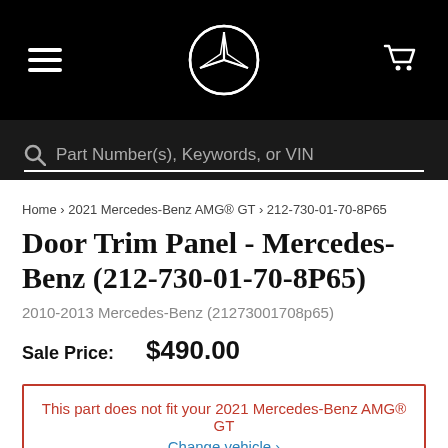[Figure (logo): Mercedes-Benz black header bar with hamburger menu icon on the left, Mercedes-Benz three-pointed star logo in the center, and shopping cart icon on the right]
Part Number(s), Keywords, or VIN
Home > 2021 Mercedes-Benz AMG® GT > 212-730-01-70-8P65
Door Trim Panel - Mercedes-Benz (212-730-01-70-8P65)
2010-2013 Mercedes-Benz (21273001708p65)
Sale Price: $490.00
This part does not fit your 2021 Mercedes-Benz AMG® GT
Change vehicle ›
Add To Cart